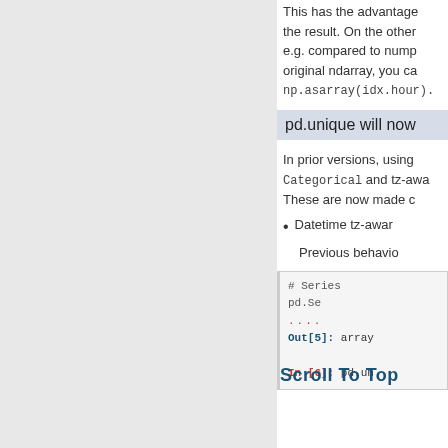This has the advantage of the result. On the other e.g. compared to nump original ndarray, you ca np.asarray(idx.hour).
pd.unique will now
In prior versions, using Categorical and tz-awa These are now made c
Datetime tz-awar
Previous behavio
# Series
pd.Se
....
Out[5]: array
In [6]: pd.un